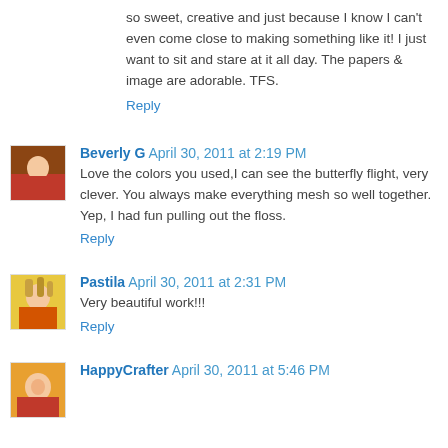so sweet, creative and just because I know I can't even come close to making something like it! I just want to sit and stare at it all day. The papers & image are adorable. TFS.
Reply
Beverly G  April 30, 2011 at 2:19 PM
Love the colors you used,I can see the butterfly flight, very clever. You always make everything mesh so well together. Yep, I had fun pulling out the floss.
Reply
Pastila  April 30, 2011 at 2:31 PM
Very beautiful work!!!
Reply
HappyCrafter  April 30, 2011 at 5:46 PM